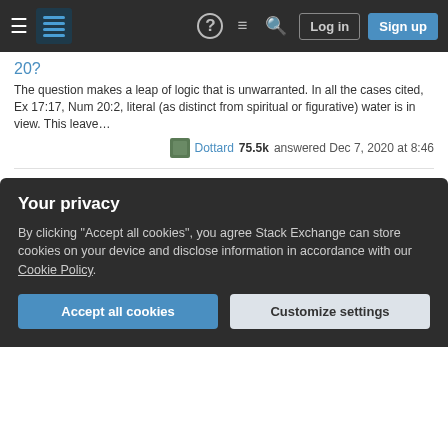Stack Exchange navigation bar with Log in and Sign up buttons
20?
The question makes a leap of logic that is unwarranted. In all the cases cited, Ex 17:17, Num 20:2, literal (as distinct from spiritual or figurative) water is in view. This leave…
Dottard 75.5k answered Dec 7, 2020 at 8:46
6 votes  Accepted
Why is John 5:4 missing in the NIV?
John 5:4 is a verse that is variously included or excluded in various manuscripts upon which the modern edited versions depend. Thus, the question is purely a textual…
Dottard 75.5k answered Feb 12, 2020 at 10:56
6 votes
Your privacy
By clicking "Accept all cookies", you agree Stack Exchange can store cookies on your device and disclose information in accordance with our Cookie Policy.
Accept all cookies
Customize settings